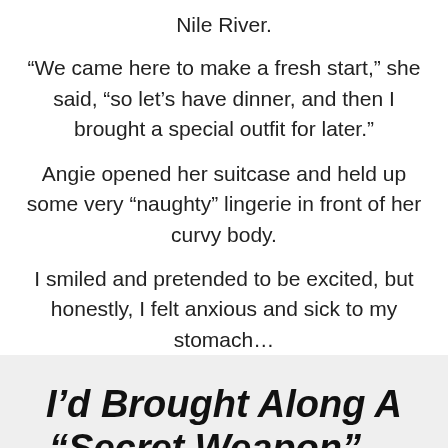Nile River.
“We came here to make a fresh start,” she said, “so let’s have dinner, and then I brought a special outfit for later.”
Angie opened her suitcase and held up some very “naughty” lingerie in front of her curvy body.
I smiled and pretended to be excited, but honestly, I felt anxious and sick to my stomach…
I’d Brought Along A “Secret Weapon”… And Tonight, I Was Going To Use It…